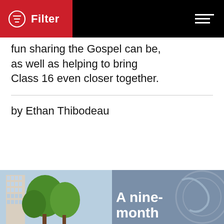Filter
fun sharing the Gospel can be, as well as helping to bring Class 16 even closer together.
by Ethan Thibodeau
[Figure (photo): Bottom strip showing two images side by side: left is a photo of a building with trees against a blue sky; right is a mural or graphic with text 'A nine-month']
A nine-month